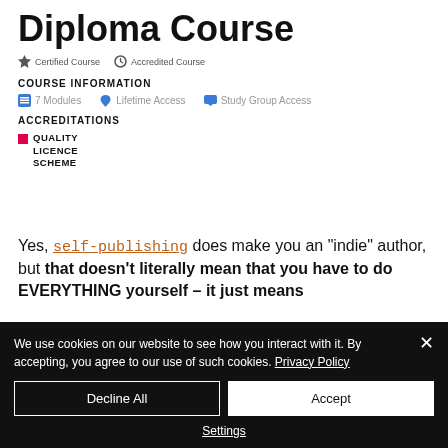Diploma Course
Certified Course  Accredited Course
COURSE INFORMATION
7 Modules   Lifetime Access   Study Group Access
ACCREDITATIONS
[Figure (logo): Quality Licence Scheme logo with pink square and bold text]
Yes, self-publishing does make you an "indie" author, but that doesn't literally mean that you have to do EVERYTHING yourself – it just means
We use cookies on our website to see how you interact with it. By accepting, you agree to our use of such cookies. Privacy Policy
Decline All
Accept
Settings